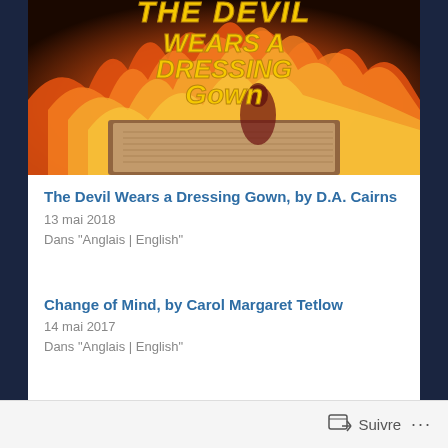[Figure (illustration): Book cover image for 'The Devil Wears a Dressing Gown' showing a burning book with flames in red/orange/yellow and the title text in yellow grunge font at the top]
The Devil Wears a Dressing Gown, by D.A. Cairns
13 mai 2018
Dans "Anglais | English"
Change of Mind, by Carol Margaret Tetlow
14 mai 2017
Dans "Anglais | English"
Suivre